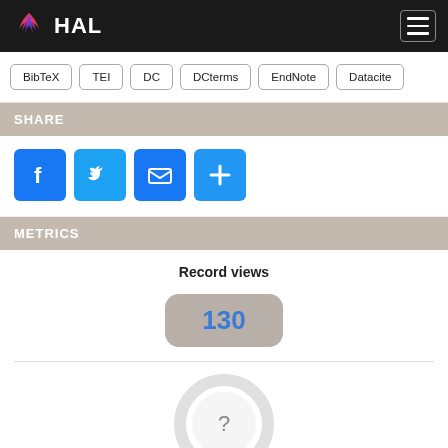HAL
BibTeX
TEI
DC
DCterms
EndNote
Datacite
SHARE
[Figure (infographic): Social share buttons: Facebook, Twitter, Email, and a plus/more button]
METRICS
Record views
[Figure (infographic): Metric counter showing 130 record views in a rounded rectangle badge]
[Figure (donut-chart): A donut/ring chart with a question mark in the center, indicating unknown or loading data]